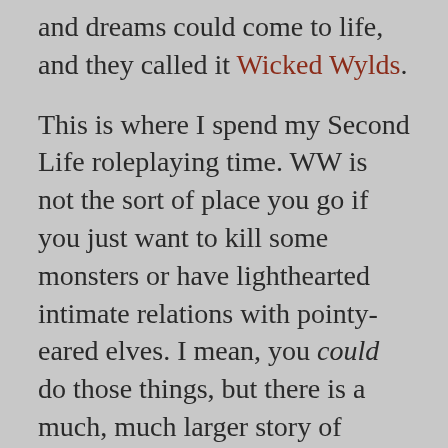and dreams could come to life, and they called it Wicked Wylds.
This is where I spend my Second Life roleplaying time. WW is not the sort of place you go if you just want to kill some monsters or have lighthearted intimate relations with pointy-eared elves. I mean, you could do those things, but there is a much, much larger story of which your actions can be a small part, or a large part.
In WW you can have come from anywhere. Maybe you were